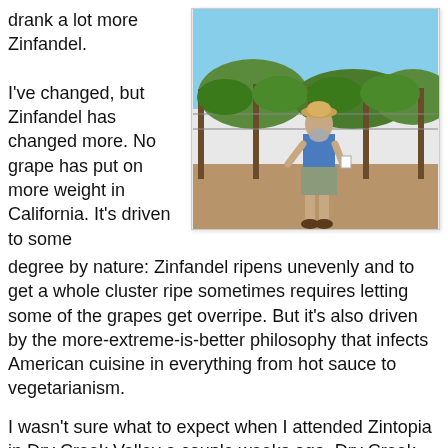drank a lot more Zinfandel.
[Figure (photo): A man wearing a blue t-shirt, shorts, and a straw hat standing in a vineyard with grapevines and wooden posts behind him under a blue sky.]
I've changed, but Zinfandel has changed more. No grape has put on more weight in California. It's driven to some degree by nature: Zinfandel ripens unevenly and to get a whole cluster ripe sometimes requires letting some of the grapes get overripe. But it's also driven by the more-extreme-is-better philosophy that infects American cuisine in everything from hot sauce to vegetarianism.
I wasn't sure what to expect when I attended Zintopia in Dry Creek Valley a couple weeks ago. Dry Creek Valley is known for Zin, and has some of the oldest vines in the country. Many farmers have embraced organic or biodynamic farming (that's Lou Preston of Preston Vineyards, a fully integrated organic farm, in the photo.)